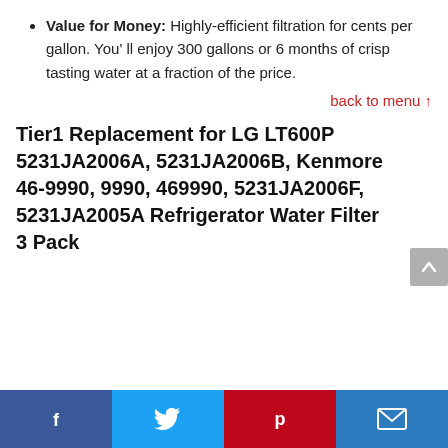Value for Money: Highly-efficient filtration for cents per gallon. You'll enjoy 300 gallons or 6 months of crisp tasting water at a fraction of the price.
back to menu ↑
Tier1 Replacement for LG LT600P 5231JA2006A, 5231JA2006B, Kenmore 46-9990, 9990, 469990, 5231JA2006F, 5231JA2005A Refrigerator Water Filter 3 Pack